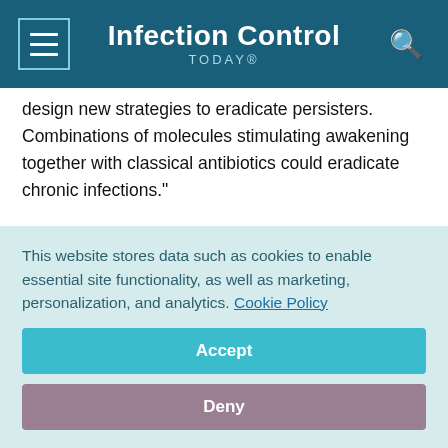Infection Control TODAY®
design new strategies to eradicate persisters. Combinations of molecules stimulating awakening together with classical antibiotics could eradicate chronic infections."
Reference: HokB monomerization and membrane repolarization control persister awakening, Wilmaerts et al., Molecular Cell 2019
Source: VIB-KU Leuven Center for Microbiology
This website stores data such as cookies to enable essential site functionality, as well as marketing, personalization, and analytics. Cookie Policy
Accept
Deny